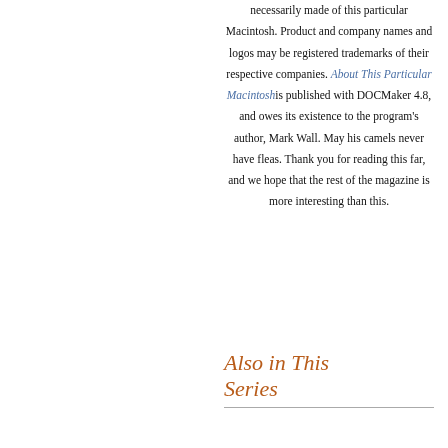necessarily made of this particular Macintosh. Product and company names and logos may be registered trademarks of their respective companies. About This Particular Macintosh is published with DOCMaker 4.8, and owes its existence to the program's author, Mark Wall. May his camels never have fleas. Thank you for reading this far, and we hope that the rest of the magazine is more interesting than this.
Also in This Series